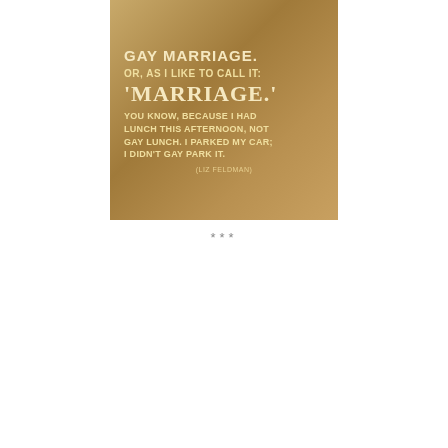[Figure (illustration): Meme image with tan/golden background containing text quote about gay marriage by Liz Feldman: 'Gay Marriage. Or, as I like to call it: 'Marriage.' You know, because I had lunch this afternoon, not gay lunch. I parked my car; I didn't gay park it. (Liz Feldman)']
***
[Figure (photo): Meme image with photo of a man (resembling Willy Wonka/Gene Wilder) resting his chin on his hand with a skeptical/condescending expression. Bold white text with black outline reads: 'OH IT SAYS GAY MARRIAGE IS A SIN IN THE BIBLE?']